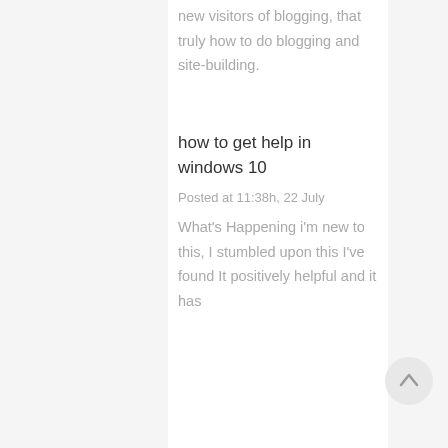new visitors of blogging, that truly how to do blogging and site-building.
how to get help in windows 10
Posted at 11:38h, 22 July
What's Happening i'm new to this, I stumbled upon this I've found It positively helpful and it has